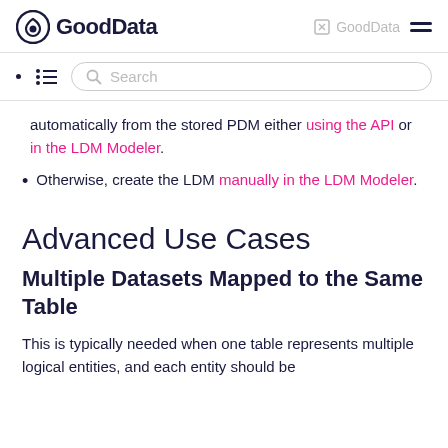GoodData | GoodData
automatically from the stored PDM either using the API or in the LDM Modeler.
Otherwise, create the LDM manually in the LDM Modeler.
Advanced Use Cases
Multiple Datasets Mapped to the Same Table
This is typically needed when one table represents multiple logical entities, and each entity should be